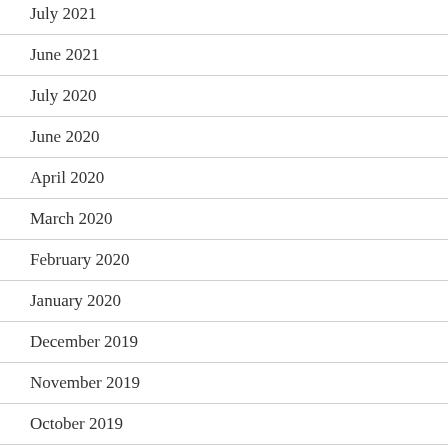July 2021
June 2021
July 2020
June 2020
April 2020
March 2020
February 2020
January 2020
December 2019
November 2019
October 2019
September 2019